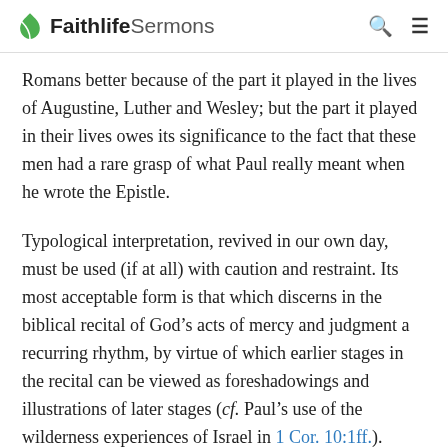Faithlife Sermons
Romans better because of the part it played in the lives of Augustine, Luther and Wesley; but the part it played in their lives owes its significance to the fact that these men had a rare grasp of what Paul really meant when he wrote the Epistle.
Typological interpretation, revived in our own day, must be used (if at all) with caution and restraint. Its most acceptable form is that which discerns in the biblical recital of God’s acts of mercy and judgment a recurring rhythm, by virtue of which earlier stages in the recital can be viewed as foreshadowings and illustrations of later stages (cf. Paul’s use of the wilderness experiences of Israel in 1 Cor. 10:1ff.).
Christians have an abiding standard and pattern in their handling of the OT and acts of the Holy Spirit have a pattern and...